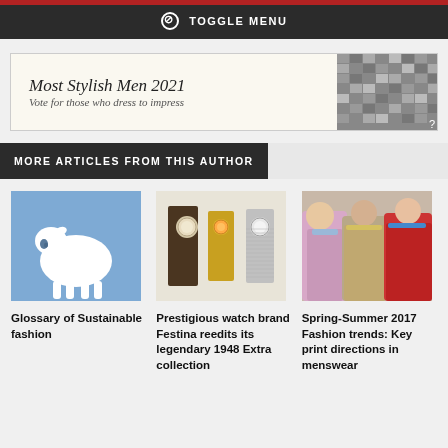⊘ TOGGLE MENU
[Figure (infographic): Advertisement banner: Most Stylish Men 2021 - Vote for those who dress to impress, with a collage of men's photos on the right]
MORE ARTICLES FROM THIS AUTHOR
[Figure (illustration): Blue background with white sheep icon - Glossary of Sustainable fashion article thumbnail]
Glossary of Sustainable fashion
[Figure (photo): Three watches displayed - a dark leather strap watch, a gold watch, and a silver mesh strap watch - Festina article thumbnail]
Prestigious watch brand Festina reedits its legendary 1948 Extra collection
[Figure (photo): Three men wearing stylish colorful outfits at a fashion show - Spring-Summer 2017 article thumbnail]
Spring-Summer 2017 Fashion trends: Key print directions in menswear